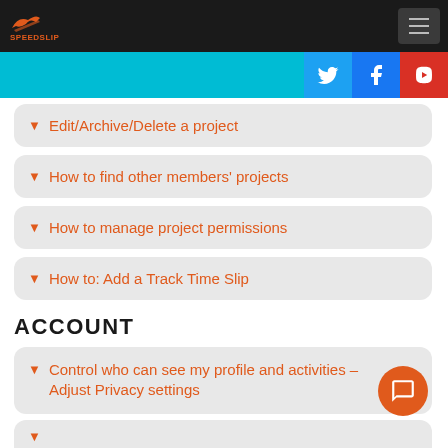SPEEDSLIP - Navigation bar with logo and hamburger menu
[Figure (screenshot): Social media bar with Twitter, Facebook, YouTube icons on cyan background]
Edit/Archive/Delete a project
How to find other members' projects
How to manage project permissions
How to: Add a Track Time Slip
ACCOUNT
Control who can see my profile and activities – Adjust Privacy settings